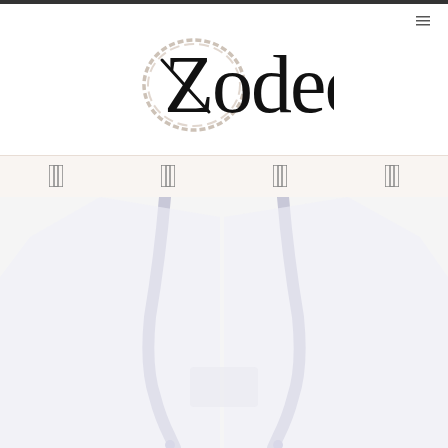[Figure (logo): Zodee brand logo with circular brush stroke and stylized Z, rendered in black serif typography]
[Figure (screenshot): Navigation bar with 4 icon menu items on a light pinkish-beige background]
[Figure (photo): White hoodie product photo partially visible at bottom of page, showing the shoulders and hood drawstrings against a light background]